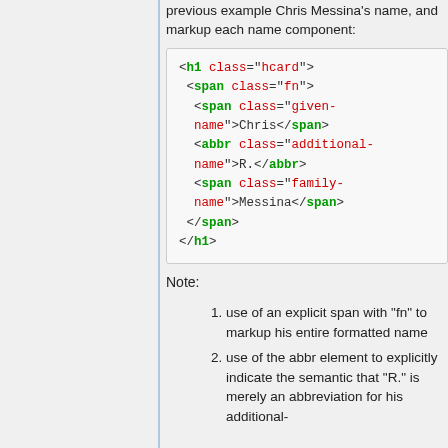previous example Chris Messina's name, and markup each name component:
[Figure (screenshot): Code block showing HTML markup with hcard, fn, given-name, additional-name, and family-name classes for Chris R. Messina]
Note:
use of an explicit span with "fn" to markup his entire formatted name
use of the abbr element to explicitly indicate the semantic that "R." is merely an abbreviation for his additional-